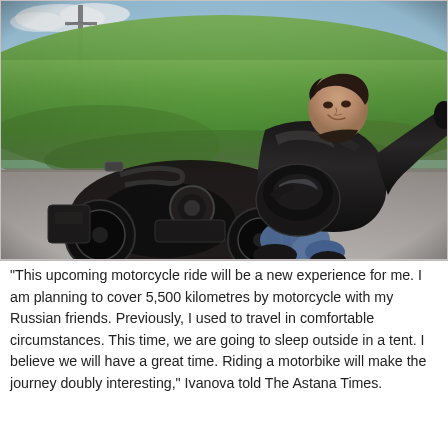[Figure (photo): Fisheye selfie photograph of a woman in black leather motorcycle gear sitting on a black motorcycle on a gravel road, with green grass fields and a light blue sky in the background. The photo is taken from above with a wide-angle/fisheye lens.]
“This upcoming motorcycle ride will be a new experience for me. I am planning to cover 5,500 kilometres by motorcycle with my Russian friends. Previously, I used to travel in comfortable circumstances. This time, we are going to sleep outside in a tent. I believe we will have a great time. Riding a motorbike will make the journey doubly interesting,” Ivanova told The Astana Times.